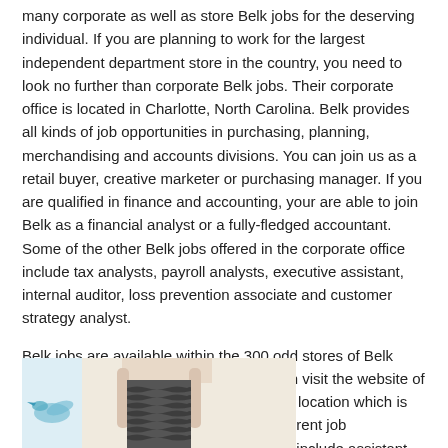many corporate as well as store Belk jobs for the deserving individual. If you are planning to work for the largest independent department store in the country, you need to look no further than corporate Belk jobs. Their corporate office is located in Charlotte, North Carolina. Belk provides all kinds of job opportunities in purchasing, planning, merchandising and accounts divisions. You can join us as a retail buyer, creative marketer or purchasing manager. If you are qualified in finance and accounting, your are able to join Belk as a financial analyst or a fully-fledged accountant. Some of the other Belk jobs offered in the corporate office include tax analysts, payroll analysts, executive assistant, internal auditor, loss prevention associate and customer strategy analyst.
Belk jobs are available within the 300 odd stores of Belk spread over 16 states in the U.S. You can visit the website of Belk in order to find the preferred job in a location which is quite comfortable to you. Some of the current job opportunities available at these locations include assistant store manager, counter staff, cashiers, sales assistants, meat counter clerks, purchasing staff and labor intensive openings.
[Figure (photo): A person wearing a patterned dress with wavy horizontal stripes, shown from mid-torso down, against a light beige background with a decorative bird motif on the left side.]